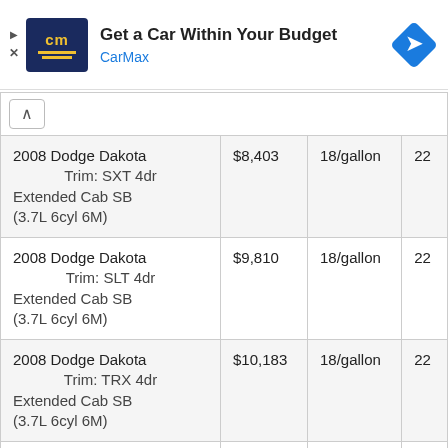[Figure (other): CarMax advertisement banner with logo, headline 'Get a Car Within Your Budget', brand name 'CarMax', and navigation arrow icon]
| Vehicle | Price | Fuel | MPG |
| --- | --- | --- | --- |
| 2008 Dodge Dakota Trim: SXT 4dr Extended Cab SB (3.7L 6cyl 6M) | $8,403 | 18/gallon | 22 |
| 2008 Dodge Dakota Trim: SLT 4dr Extended Cab SB (3.7L 6cyl 6M) | $9,810 | 18/gallon | 22 |
| 2008 Dodge Dakota Trim: TRX 4dr Extended Cab SB (3.7L 6cyl 6M) | $10,183 | 18/gallon | 22 |
| 2008 Dodge Dakota | $10,572 | 17/gallon | 22 |